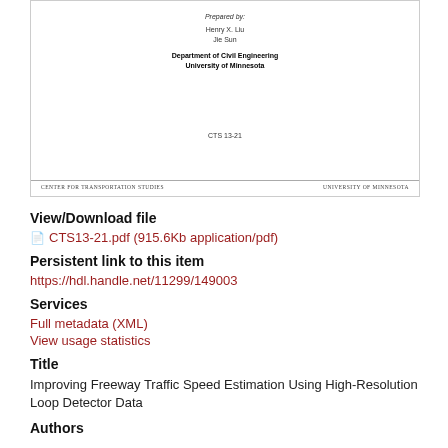[Figure (other): Thumbnail of a report cover page. Shows 'Prepared by:', authors Henry X. Liu and Jie Sun, Department of Civil Engineering, University of Minnesota, report code CTS 13-21, footer with Center for Transportation Studies and University of Minnesota.]
View/Download file
CTS13-21.pdf (915.6Kb application/pdf)
Persistent link to this item
https://hdl.handle.net/11299/149003
Services
Full metadata (XML)
View usage statistics
Title
Improving Freeway Traffic Speed Estimation Using High-Resolution Loop Detector Data
Authors